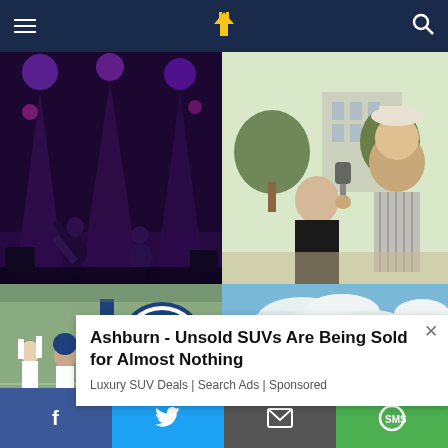Navigation bar with hamburger menu, logo, and search icon
[Figure (photo): Two performers on stage under purple/violet stage lighting, one appears to be doing a high kick]
[Figure (photo): Students outdoors on campus, one holding a microphone toward another student, interview scene]
[Figure (photo): Penn State football players celebrating on field with Penn State Nittany Lions logo visible]
[Figure (photo): Outdoor scene with green trees under a partly cloudy blue sky]
Ashburn - Unsold SUVs Are Being Sold for Almost Nothing
Luxury SUV Deals | Search Ads | Sponsored
Social share bar: Facebook, Twitter, Email, SMS